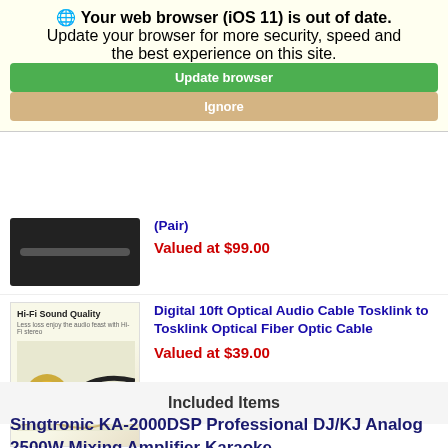⚠ Your web browser (iOS 11) is out of date. Update your browser for more security, speed and the best experience on this site.
(Pair)
Valued at $99.00
[Figure (photo): Digital 10ft Optical Audio Cable product image showing Hi-Fi Sound Quality label and cable connectors]
Digital 10ft Optical Audio Cable Tosklink to Tosklink Optical Fiber Optic Cable
Valued at $39.00
Included Items
Singtronic KA-2000DSP Professional DJ/KJ Analog 2500W Mixing Amplifier Karaoke
Built in Optical, 4K HDMI, Voice Recording &